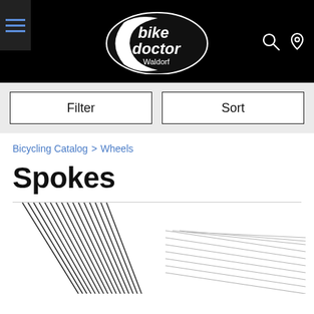[Figure (logo): Bike Doctor Waldorf logo on black header background with hamburger menu icon on left and search/location icons on right]
Filter   Sort
Bicycling Catalog > Wheels
Spokes
[Figure (photo): Two product images: black spokes bundle on the left and silver/chrome spokes bundle on the right, partially visible at bottom of page]